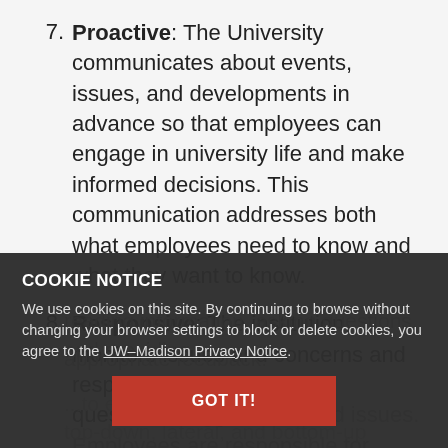7. Proactive: The University communicates about events, issues, and developments in advance so that employees can engage in university life and make informed decisions. This communication addresses both what employees need to know and what they want to know.
8. Responsive: The institution monitors issues and concerns and responds appropriately to questions, suggestions, and issues. Employees are responsible for reading information, asking questions, and providing appropriate feedback.
...to enable top-down, lateral, and bottom-up communication. Employees play a role in communicating events, policies, issues, and developments. Like all...
COOKIE NOTICE
We use cookies on this site. By continuing to browse without changing your browser settings to block or delete cookies, you agree to the UW–Madison Privacy Notice.